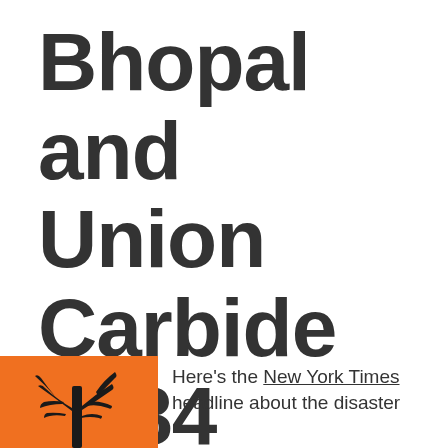Bhopal and Union Carbide 1984 Accident
[Figure (illustration): Orange square background with a black silhouette of a bare dead tree]
Here's the New York Times headline about the disaster